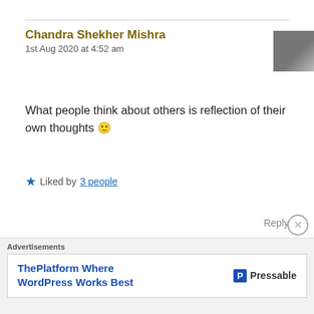Chandra Shekher Mishra
1st Aug 2020 at 4:52 am
What people think about others is reflection of their own thoughts 🙂
★ Liked by 3 people
Reply
Ava Tripathy
2nd Aug 2020 at 6:31 am
Advertisements
ThePlatform Where WordPress Works Best — Pressable